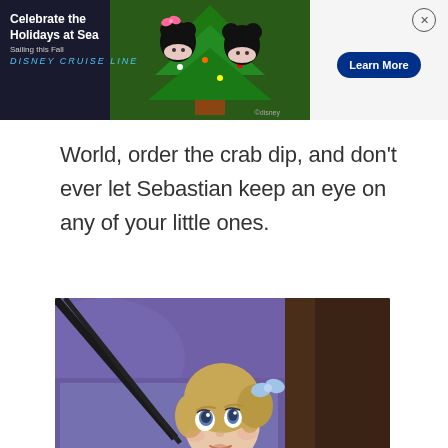[Figure (photo): Disney Cruise Line advertisement banner showing Minnie Mouse and Mickey Mouse in Christmas attire in front of a decorated tree, with text 'Celebrate the Holidays at Sea, Sailing this Fall, Disney CRUISE LINE' and a 'Learn More' button on the right side.]
World, order the crab dip, and don't ever let Sebastian keep an eye on any of your little ones.
[Figure (illustration): Animated Disney illustration of a young blonde girl in a blue dress with a blue bow in her hair, looking upward with a concerned expression, set against a purple/blue background.]